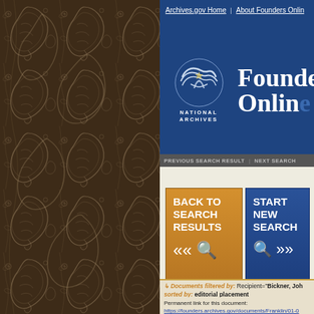[Figure (screenshot): Founders Online website screenshot showing National Archives logo, navigation links, back to search results and start new search buttons, filter bar, permanent link, and document title 'Pass for John Bickner Myfeld, 30 May 175...']
Archives.gov Home    About Founders Online
Founders Onlin
BACK TO SEARCH RESULTS <<ç
START NEW SEARCH ç>>
PREVIOUS SEARCH RESULT    NEXT SEARCH
Documents filtered by: Recipient="Bickner, Joh  sorted by: editorial placement
Permanent link for this document:
https://founders.archives.gov/documents/Franklin/01-0
Pass for John Bick Myfeld, 30 May 175